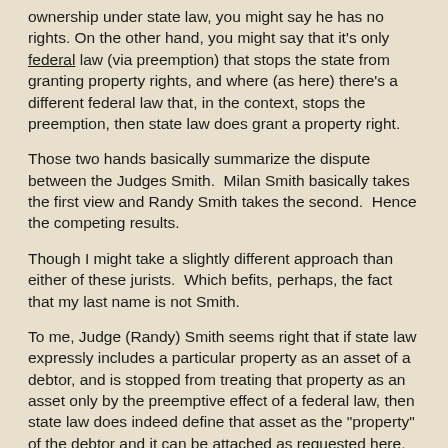ownership under state law, you might say he has no rights. On the other hand, you might say that it's only federal law (via preemption) that stops the state from granting property rights, and where (as here) there's a different federal law that, in the context, stops the preemption, then state law does grant a property right.
Those two hands basically summarize the dispute between the Judges Smith. Milan Smith basically takes the first view and Randy Smith takes the second. Hence the competing results.
Though I might take a slightly different approach than either of these jurists. Which befits, perhaps, the fact that my last name is not Smith.
To me, Judge (Randy) Smith seems right that if state law expressly includes a particular property as an asset of a debtor, and is stopped from treating that property as an asset only by the preemptive effect of a federal law, then state law does indeed define that asset as the "property" of the debtor and it can be attached as requested here. For example, if state law said "All animals obtained during a